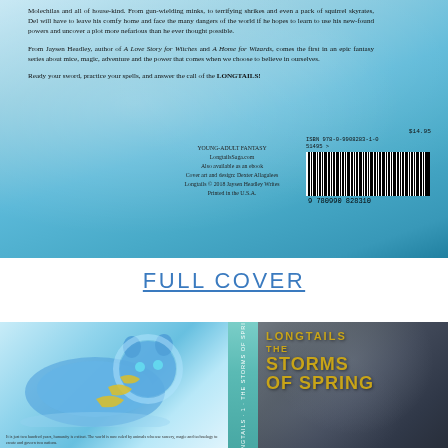[Figure (illustration): Back cover of the book 'Longtails: The Storms of Spring' showing a blue-toned aquatic background with book blurb text, publisher info, ISBN barcode showing 978-0-9908283-1-0, price $14.95]
Molechilas and all of house-kind. From gun-wielding minks, to terrifying shrikes and even a pack of squirrel skyrates, Del will have to leave his comfy home and face the many dangers of the world if he hopes to learn to use his new-found powers and uncover a plot more nefarious than he ever thought possible.
From Jaysen Headley, author of A Love Story for Witches and A Home for Wizards, comes the first in an epic fantasy series about mice, magic, adventure and the power that comes when we choose to believe in ourselves.
Ready your sword, practice your spells, and answer the call of the LONGTAILS!
YOUNG-ADULT FANTASY
LongtailsSaga.com
Also available as an ebook
Cover art and design: Dexter Allagalees
Longtails © 2018 Jaysen Headley Writes
Printed in the U.S.A.
$14.95
ISBN 978-0-9908283-1-0
51495 >
9 780990 828310
FULL COVER
[Figure (illustration): Full cover of the book showing: left panel - a glowing blue bear/lion creature with yellow stripes on a light blue background; center spine - teal colored spine with text 'LONGTAILS 1' and 'THE STORMS OF SPRING'; right panel - stormy dark cloud background with gold text reading 'LONGTAILS THE STORMS OF SPRING']